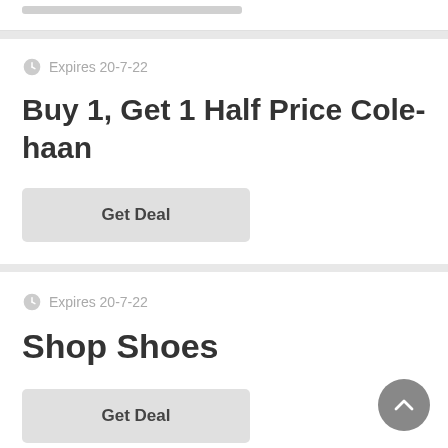Expires 20-7-22
Buy 1, Get 1 Half Price Cole-haan
Get Deal
Expires 20-7-22
Shop Shoes
Get Deal